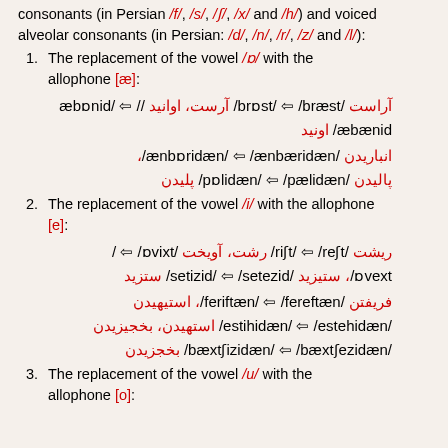consonants (in Persian /f/, /s/, /ʃ/, /x/ and /h/) and voiced alveolar consonants (in Persian: /d/, /n/, /r/, /z/ and /l/):
1. The replacement of the vowel /ɒ/ with the allophone [æ]:
آراست /brɒst/ ⇦ /bræst/ آرست، اوانید /æbɒnid/ ⇦ /æbænid/ اونید، انباریدن /ænbɒridæn/ ⇦ /ænbæridæn/، پالیدن /pɒlidæn/ ⇦ /pælidæn/ پلیدن
2. The replacement of the vowel /i/ with the allophone [e]:
ریشت /riʃt/ ⇦ /reʃt/ رشت، آویخت /ɒvixt/ ⇦ / ɒvext/، ستیزید /setizid/ ⇦ /setezid/ ستزید، فریفتن /feriftæn/ ⇦ /fereftæn/ فرفتن، استیهیدن /estihidæn/ ⇦ /estehidæn/ استهیدن، بخجیزیدن /bæxtʃizidæn/ ⇦ /bæxtʃezidæn/ بخجزیدن
3. The replacement of the vowel /u/ with the allophone [o]: